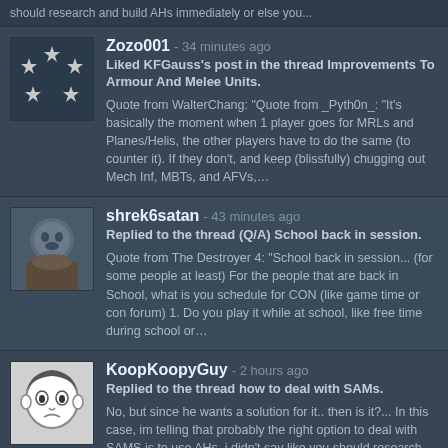should research and build AHs immediately or else you...
Zozo001 - 34 minutes ago
Liked KFGauss's post in the thread Improvements To Armour And Melee Units.
Quote from WalterChang: "Quote from _Pyth0n_: "It's basically the moment when 1 player goes for MRLs and Planes/Helis, the other players have to do the same (to counter it). If they don't, and keep (blissfully) chugging out Mech Inf, MBTs, and AFVs,...
shrek6satan - 43 minutes ago
Replied to the thread (Q/A) School back in session.
Quote from The Destroyer 4: "School back in session... (for some people at least) For the people that are back in School, what is you schedule for CON (like game time or con forum) 1. Do you play it while at school, like free time during school or...
KoopKoopyGuy - 2 hours ago
Replied to the thread how to deal with SAMs.
No, but since he wants a solution for it.. then is it?... In this case, im telling that probably the right option to deal with SAMS is to use AHs, i didn't say like you should research and build AHs immediately or else you will be crushed by everyone...
Bigish56 - 2 hours ago
Wrote a comment on Bigish56's wall.